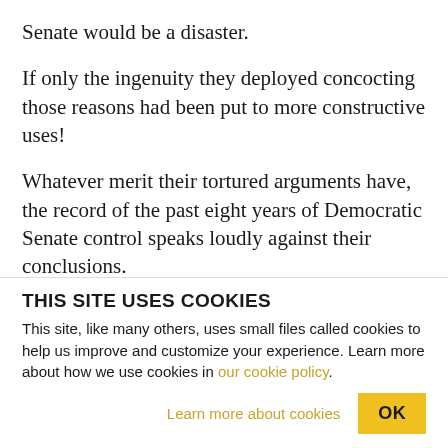Senate would be a disaster.
If only the ingenuity they deployed concocting those reasons had been put to more constructive uses!
Whatever merit their tortured arguments have, the record of the past eight years of Democratic Senate control speaks loudly against their conclusions.
Majority Leader Harry Reid has done a creditable job keeping some truly awful legislation – fast track trade authority, for example – from coming to the
THIS SITE USES COOKIES
This site, like many others, uses small files called cookies to help us improve and customize your experience. Learn more about how we use cookies in our cookie policy.
Learn more about cookies   OK